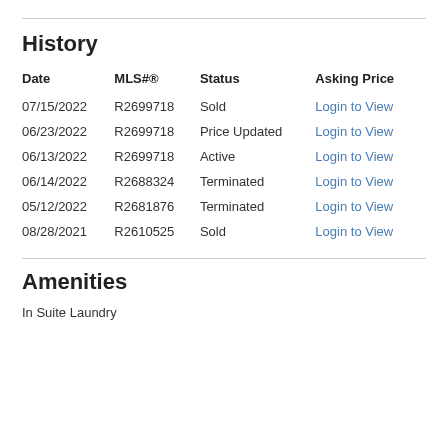History
| Date | MLS#® | Status | Asking Price |
| --- | --- | --- | --- |
| 07/15/2022 | R2699718 | Sold | Login to View |
| 06/23/2022 | R2699718 | Price Updated | Login to View |
| 06/13/2022 | R2699718 | Active | Login to View |
| 06/14/2022 | R2688324 | Terminated | Login to View |
| 05/12/2022 | R2681876 | Terminated | Login to View |
| 08/28/2021 | R2610525 | Sold | Login to View |
Amenities
In Suite Laundry